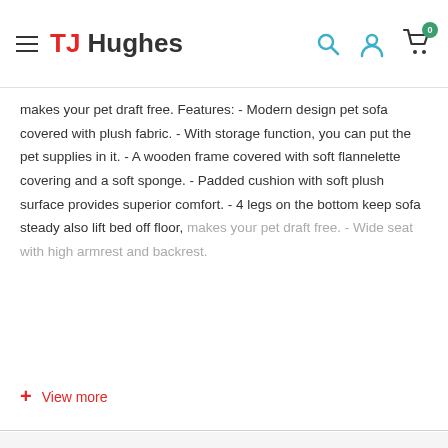TJ Hughes
makes your pet draft free. Features: - Modern design pet sofa covered with plush fabric. - With storage function, you can put the pet supplies in it. - A wooden frame covered with soft flannelette covering and a soft sponge. - Padded cushion with soft plush surface provides superior comfort. - 4 legs on the bottom keep sofa steady also lift bed off floor, makes your pet draft free. - Wide seat with high armrest and backrest.
+ View more
You may also like